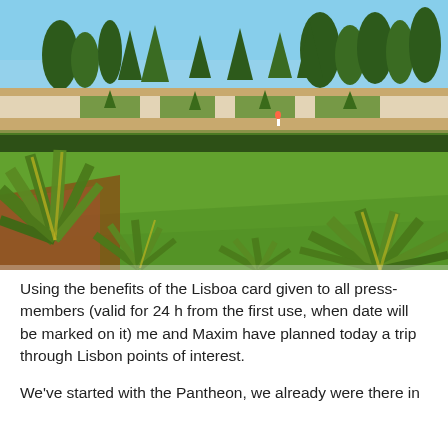[Figure (photo): Outdoor garden photo showing manicured formal gardens with topiary trees, hedgerows, green lawn, and agave/yucca plants in the foreground. Blue sky visible in the background. Location appears to be Lisbon, Portugal (Parque Eduardo VII or similar formal garden).]
Using the benefits of the Lisboa card given to all press-members (valid for 24 h from the first use, when date will be marked on it) me and Maxim have planned today a trip through Lisbon points of interest.
We've started with the Pantheon, we already were there in